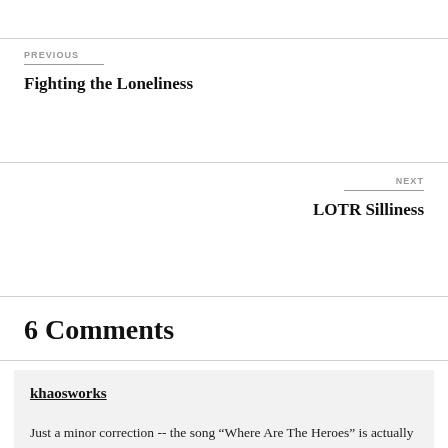PREVIOUS
Fighting the Loneliness
NEXT
LOTR Silliness
6 Comments
khaosworks
Just a minor correction -- the song “Where Are The Heroes” is actually titled, “Pulp Fiction”… I know, it